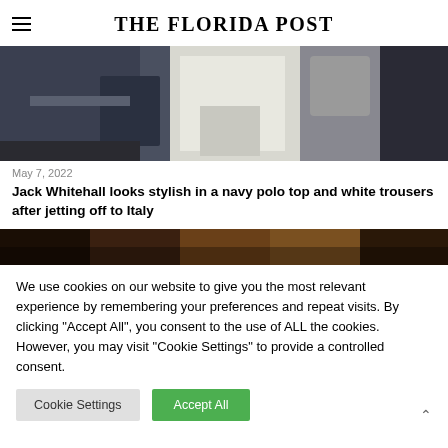THE FLORIDA POST
[Figure (photo): Outdoor photo showing people sitting and standing, one person in white clothing, stone wall in background]
May 7, 2022
Jack Whitehall looks stylish in a navy polo top and white trousers after jetting off to Italy
[Figure (photo): Partial photo with dark brown/earth tones, top portion of another article image]
We use cookies on our website to give you the most relevant experience by remembering your preferences and repeat visits. By clicking "Accept All", you consent to the use of ALL the cookies. However, you may visit "Cookie Settings" to provide a controlled consent.